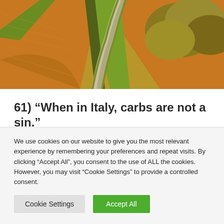[Figure (photo): Aerial view of a winding road through yellow and green agricultural fields in Italy]
61) “When in Italy, carbs are not a sin.”
62) “There’s something majestic within the dangerous style of Italy.” – E. M. Forster
63) “All the pianos in Venice is just a bit bit
We use cookies on our website to give you the most relevant experience by remembering your preferences and repeat visits. By clicking “Accept All”, you consent to the use of ALL the cookies. However, you may visit “Cookie Settings” to provide a controlled consent.